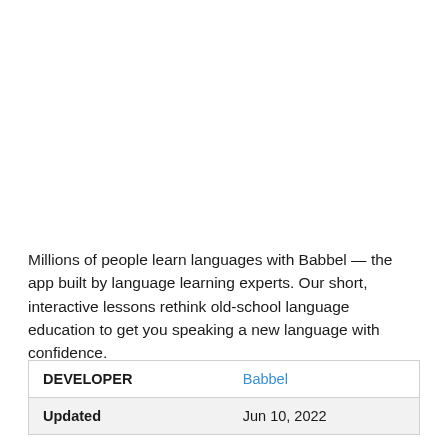Millions of people learn languages with Babbel — the app built by language learning experts. Our short, interactive lessons rethink old-school language education to get you speaking a new language with confidence.
|  |  |
| --- | --- |
| DEVELOPER | Babbel |
| Updated | Jun 10, 2022 |